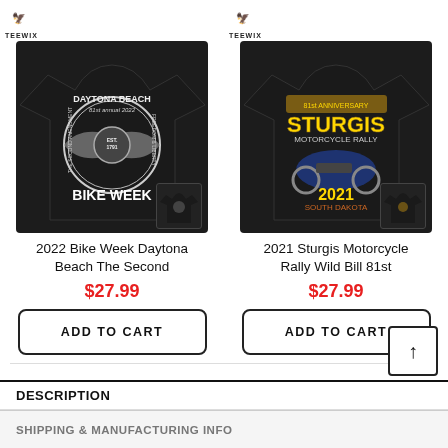[Figure (photo): TEEWIX branded black t-shirt showing back print: Daytona Beach 81st annual 2022, The Second Amendment, Freedom & Liberty, Bike Week, eagle design. Small front view inset shown.]
2022 Bike Week Daytona Beach The Second
$27.99
ADD TO CART
[Figure (photo): TEEWIX branded black t-shirt showing back print: 81st Anniversary Sturgis Motorcycle Rally, Wild Bill, 2021 South Dakota, motorcycle graphic. Small front view inset shown.]
2021 Sturgis Motorcycle Rally Wild Bill 81st
$27.99
ADD TO CART
DESCRIPTION
SHIPPING & MANUFACTURING INFO